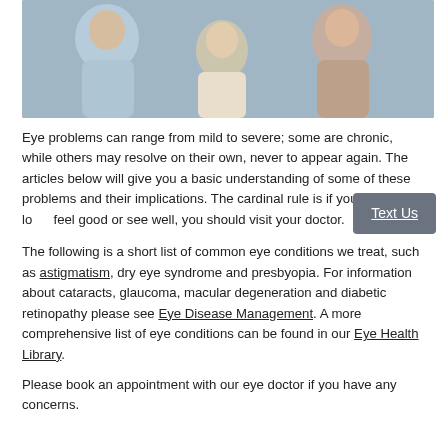[Figure (photo): Family photo showing a man, a young child with blonde hair, and a woman smiling together indoors.]
Eye problems can range from mild to severe; some are chronic, while others may resolve on their own, never to appear again. The articles below will give you a basic understanding of some of these problems and their implications. The cardinal rule is if your eyes don't look, feel good or see well, you should visit your doctor.
The following is a short list of common eye conditions we treat, such as astigmatism, dry eye syndrome and presbyopia. For information about cataracts, glaucoma, macular degeneration and diabetic retinopathy please see Eye Disease Management. A more comprehensive list of eye conditions can be found in our Eye Health Library.
Please book an appointment with our eye doctor if you have any concerns.